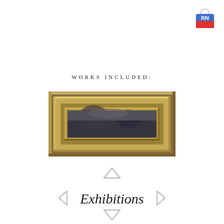[Figure (logo): Shopping bag logo with 'RN' letters in blue and red colors, top right corner]
WORKS INCLUDED:
[Figure (photo): Close-up of an ornate gold/gilded picture frame with a painting partially visible at the bottom showing a dark landscape]
[Figure (other): Navigation arrow pointing up (chevron/caret up symbol in grey)]
Exhibitions
[Figure (other): Navigation arrow pointing down (chevron/caret down symbol in grey)]